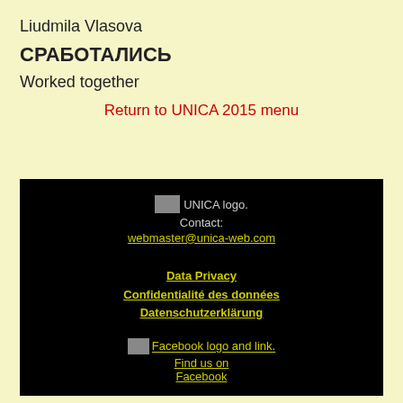Liudmila Vlasova
СРАБОТАЛИСЬ
Worked together
Return to UNICA 2015 menu
[Figure (logo): UNICA logo placeholder image followed by contact info: webmaster@unica-web.com]
Data Privacy
Confidentialité des données
Datenschutzerklärung
[Figure (logo): Facebook logo and link: Find us on Facebook]